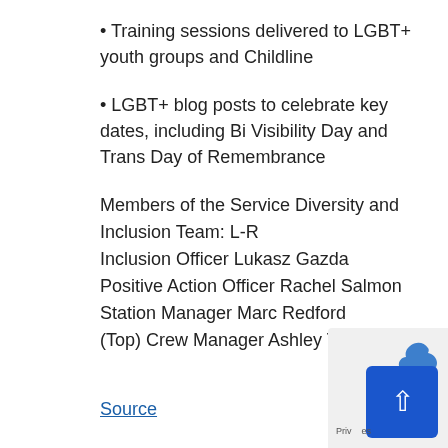• Training sessions delivered to LGBT+ youth groups and Childline
• LGBT+ blog posts to celebrate key dates, including Bi Visibility Day and Trans Day of Remembrance
Members of the Service Diversity and Inclusion Team: L-R
Inclusion Officer Lukasz Gazda
Positive Action Officer Rachel Salmon
Station Manager Marc Redford
(Top) Crew Manager Ashley Turner
Source